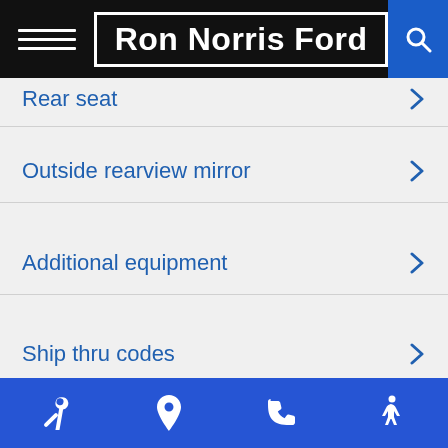Ron Norris Ford
Rear seat
Outside rearview mirror
Additional equipment
Ship thru codes
2023 Ford F-650 Pro Loader Consumer Information